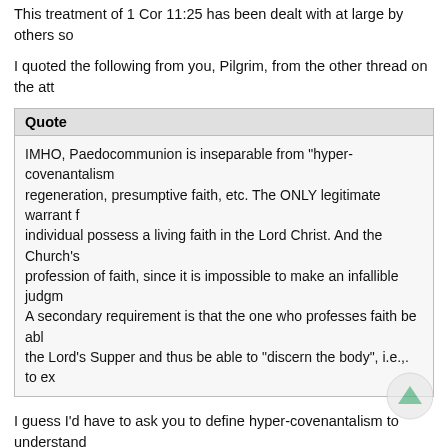41. THEY, when the church eats and drinks, DOI remembers His covenant... This treatment of 1 Cor 11:25 has been dealt with at large by others so
I quoted the following from you, Pilgrim, from the other thread on the att
Quote
IMHO, Paedocommunion is inseparable from "hyper-covenantalism regeneration, presumptive faith, etc. The ONLY legitimate warrant f individual possess a living faith in the Lord Christ. And the Church's profession of faith, since it is impossible to make an infallible judgm A secondary requirement is that the one who professes faith be abl the Lord's Supper and thus be able to "discern the body", i.e.,. to ex
I guess I'd have to ask you to define hyper-covenantalism to understand another question. Why is it that whenever Paul is speaking about the el blood". But here when Paul commands us to discern the body (1 Cor 11 blood. Certainly we could infer that body means "body and blood" toget Paul does refer to the church as "the body" in several places in this lette none are to be left out of the supper. "When you come together to eat, w sits down in his seat, hears the proclamation of the Jesus' death, and in